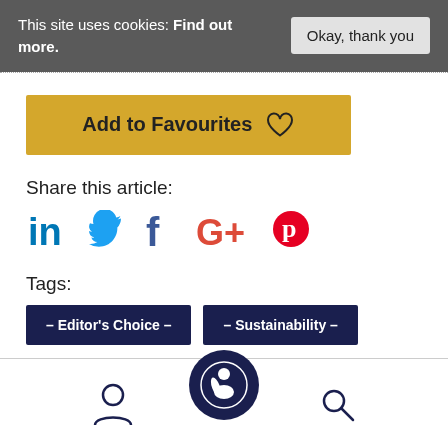This site uses cookies: Find out more.
Okay, thank you
Add to Favourites
Share this article:
[Figure (infographic): Social media sharing icons: LinkedIn, Twitter, Facebook, Google+, Pinterest]
Tags:
– Editor's Choice –
– Sustainability –
[Figure (logo): Website logo circular dark navy icon with white figure, user icon and search icon in footer navigation bar]